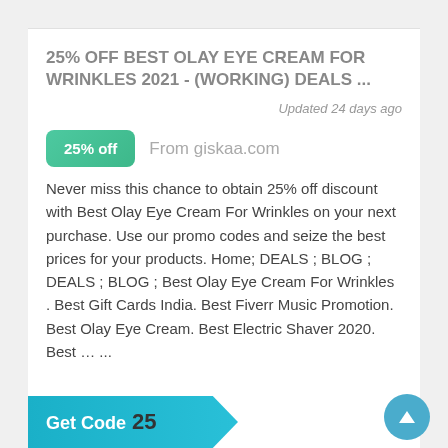25% OFF BEST OLAY EYE CREAM FOR WRINKLES 2021 - (WORKING) DEALS ...
Updated 24 days ago
25% off  From giskaa.com
Never miss this chance to obtain 25% off discount with Best Olay Eye Cream For Wrinkles on your next purchase. Use our promo codes and seize the best prices for your products. Home; DEALS ; BLOG ; DEALS ; BLOG ; Best Olay Eye Cream For Wrinkles . Best Gift Cards India. Best Fiverr Music Promotion. Best Olay Eye Cream. Best Electric Shaver 2020. Best … ...
Get Code 25